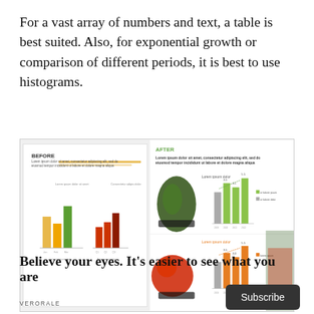For a vast array of numbers and text, a table is best suited. Also, for exponential growth or comparison of different periods, it is best to use histograms.
[Figure (illustration): Before/After comparison slide showing bar charts labeled BEFORE and AFTER, with Lorem ipsum placeholder text, vegetable food product images (cucumbers, tomatoes), and grouped bar charts in green, orange, and gray colors.]
Believe your eyes. It’s easier to see what you are
VERORALE
Subscribe